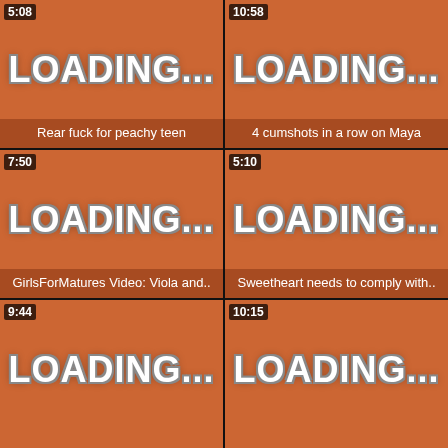[Figure (screenshot): Video thumbnail loading state with orange background, LOADING... text, timestamp 5:08, caption: Rear fuck for peachy teen]
[Figure (screenshot): Video thumbnail loading state with orange background, LOADING... text, timestamp 10:58, caption: 4 cumshots in a row on Maya]
[Figure (screenshot): Video thumbnail loading state with orange background, LOADING... text, timestamp 7:50, caption: GirlsForMatures Video: Viola and..]
[Figure (screenshot): Video thumbnail loading state with orange background, LOADING... text, timestamp 5:10, caption: Sweetheart needs to comply with..]
[Figure (screenshot): Video thumbnail loading state with orange background, LOADING... text, timestamp 9:44, no caption visible]
[Figure (screenshot): Video thumbnail loading state with orange background, LOADING... text, timestamp 10:15, no caption visible]